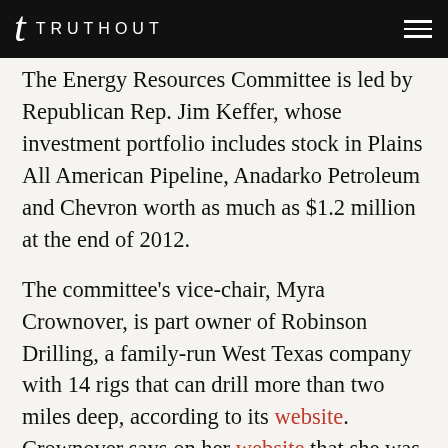TRUTHOUT
The Energy Resources Committee is led by Republican Rep. Jim Keffer, whose investment portfolio includes stock in Plains All American Pipeline, Anadarko Petroleum and Chevron worth as much as $1.2 million at the end of 2012.
The committee's vice-chair, Myra Crownover, is part owner of Robinson Drilling, a family-run West Texas company with 14 rigs that can drill more than two miles deep, according to its website. Crownover says on her website that she was named the Texas oil and gas industry's